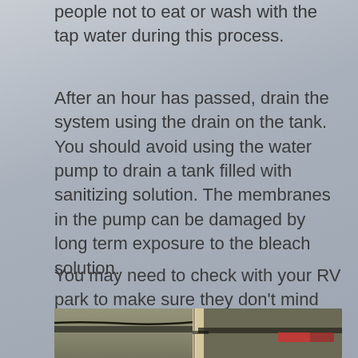people not to eat or wash with the tap water during this process.
After an hour has passed, drain the system using the drain on the tank. You should avoid using the water pump to drain a tank filled with sanitizing solution. The membranes in the pump can be damaged by long term exposure to the bleach solution.
You may need to check with your RV park to make sure they don’t mind you draining your fresh water tank at your site!
[Figure (photo): Close-up photo of RV plumbing or water tank components, showing pipes and structural elements in an outdoor setting.]